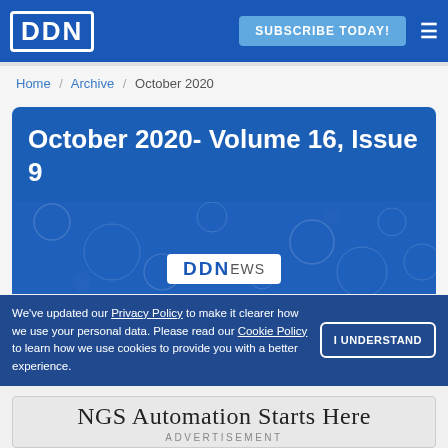DDN | SUBSCRIBE TODAY!
Home / Archive / October 2020
October 2020- Volume 16, Issue 9
[Figure (screenshot): DDNews logo on a blue hexagonal pattern background]
We've updated our Privacy Policy to make it clearer how we use your personal data. Please read our Cookie Policy to learn how we use cookies to provide you with a better experience.
I UNDERSTAND
NGS Automation Starts Here
ADVERTISEMENT